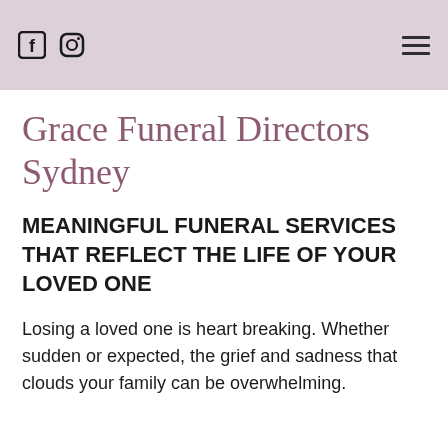[Facebook icon] [Instagram icon] [Hamburger menu]
Grace Funeral Directors Sydney
MEANINGFUL FUNERAL SERVICES THAT REFLECT THE LIFE OF YOUR LOVED ONE
Losing a loved one is heart breaking. Whether sudden or expected, the grief and sadness that clouds your family can be overwhelming.